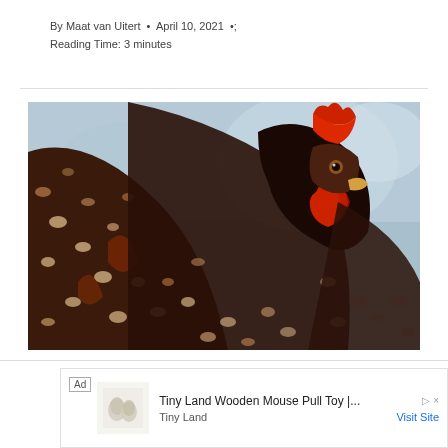By Maat van Uitert • April 10, 2021 • Reading Time: 3 minutes
[Figure (photo): Close-up photo of a dark speckled chicken with a bright red comb and wattle, looking directly at the camera against a blurred blue background]
Ad  Tiny Land Wooden Mouse Pull Toy |...  Tiny Land  Visit Site